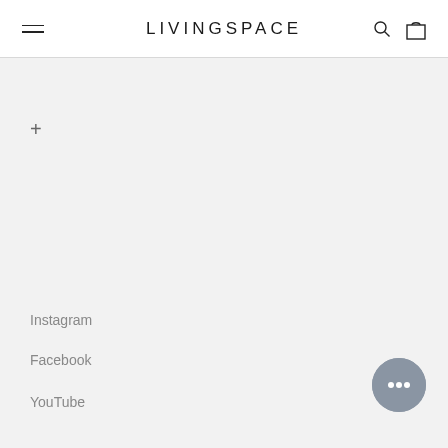LIVINGSPACE
+
Instagram
Facebook
YouTube